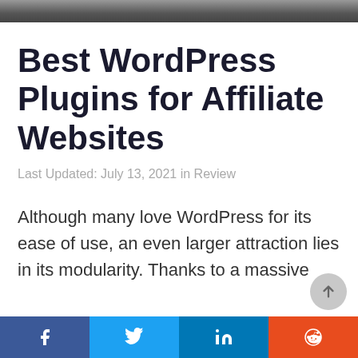[Figure (photo): Dark background image at top of page, partially visible]
Best WordPress Plugins for Affiliate Websites
Last Updated: July 13, 2021 in Review
Although many love WordPress for its ease of use, an even larger attraction lies in its modularity. Thanks to a massive
Facebook | Twitter | LinkedIn | Reddit social share bar